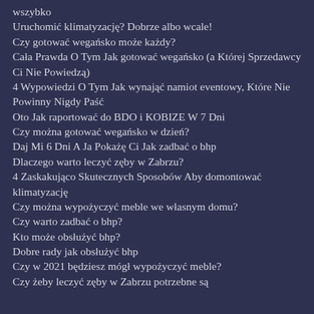wszybko
Uruchomić klimatyzację? Dobrze albo wcale!
Czy gotować wegańsko może każdy?
Cała Prawda O Tym Jak gotować wegańsko (a Której Sprzedawcy Ci Nie Powiedzą)
4 Wypowiedzi O Tym Jak wynająć namiot eventowy, Które Nie Powinny Nigdy Paść
Oto Jak raportować do BDO i KOBIZE W 7 Dni
Czy można gotować wegańsko w dzień?
Daj Mi 6 Dni A Ja Pokażę Ci Jak zadbać o bhp
Dlaczego warto leczyć zęby w Zabrzu?
4 Zaskakująco Skutecznych Sposobów Aby domontować klimatyzację
Czy można wypożyczyć meble we własnym domu?
Czy warto zadbać o bhp?
Kto może obsłużyć bhp?
Dobre rady jak obsłużyć bhp
Czy w 2021 będziesz mógł wypożyczyć meble?
Czy żeby leczyć zęby w Zabrzu potrzebne są